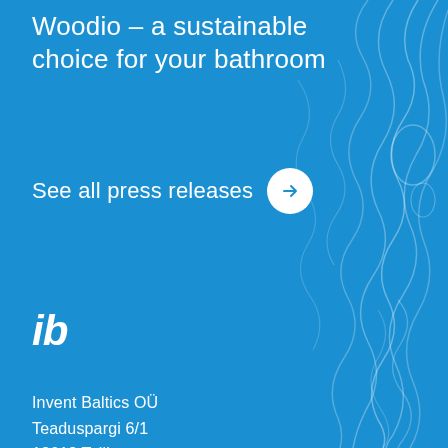Woodio - a sustainable choice for your bathroom
See all press releases →
[Figure (logo): ib logo in white italic bold text]
Invent Baltics OÜ
Teaduspargi 6/1
12618 Tallinn
Estonia
E-mail: info@invent.ee
[Figure (illustration): Abstract wavy contour lines decorative pattern on the right side of the page in a lighter blue]